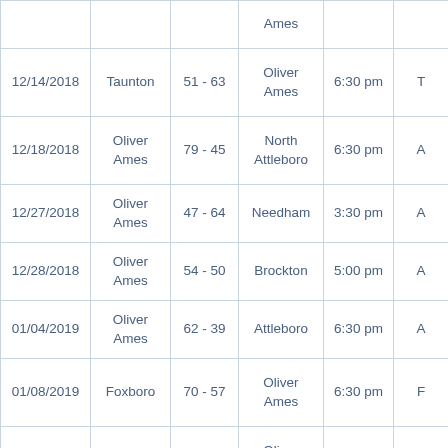| Date | Home | Score | Away | Time | Location |
| --- | --- | --- | --- | --- | --- |
|  |  |  | Ames |  |  |
| 12/14/2018 | Taunton | 51 - 63 | Oliver Ames | 6:30 pm | T |
| 12/18/2018 | Oliver Ames | 79 - 45 | North Attleboro | 6:30 pm | A |
| 12/27/2018 | Oliver Ames | 47 - 64 | Needham | 3:30 pm | A |
| 12/28/2018 | Oliver Ames | 54 - 50 | Brockton | 5:00 pm | A |
| 01/04/2019 | Oliver Ames | 62 - 39 | Attleboro | 6:30 pm | A |
| 01/08/2019 | Foxboro | 70 - 57 | Oliver Ames | 6:30 pm | F |
| 01/11/2019 | Mansfield | 41 - 32 | Oliver Ames | 6:00 pm | M |